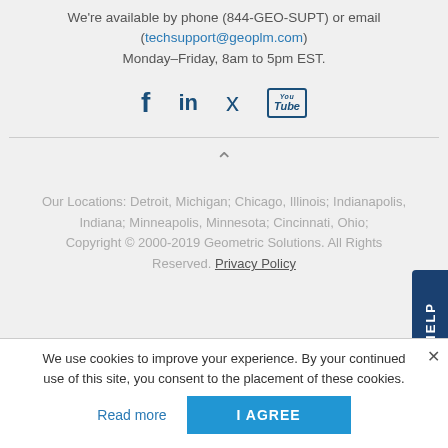We're available by phone (844-GEO-SUPT) or email (techsupport@geoplm.com) Monday–Friday, 8am to 5pm EST.
[Figure (infographic): Social media icons for Facebook, LinkedIn, Twitter, and YouTube in dark blue]
Our Locations: Detroit, Michigan; Chicago, Illinois; Indianapolis, Indiana; Minneapolis, Minnesota; Cincinnati, Ohio; Copyright © 2000-2019 Geometric Solutions. All Rights Reserved. Privacy Policy
We use cookies to improve your experience. By your continued use of this site, you consent to the placement of these cookies. Read more  I AGREE